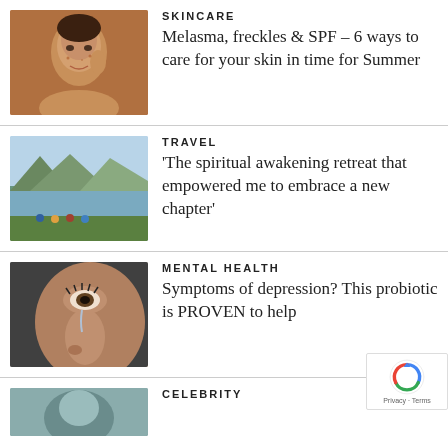[Figure (photo): Woman smiling, touching her face, skincare photo with brown background]
SKINCARE
Melasma, freckles & SPF – 6 ways to care for your skin in time for Summer
[Figure (photo): Group of people sitting by a mountain lake, travel/nature photo]
TRAVEL
'The spiritual awakening retreat that empowered me to embrace a new chapter'
[Figure (photo): Close-up of a person's eye and nose with a tear, mental health photo]
MENTAL HEALTH
Symptoms of depression? This probiotic is PROVEN to help
[Figure (photo): Celebrity section image, teal/blue toned photo, partially visible]
CELEBRITY